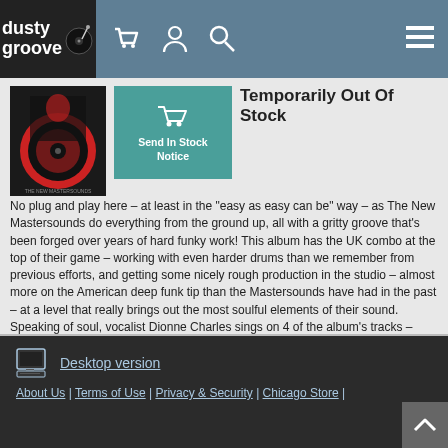dusty groove
[Figure (photo): Album cover image – The New Mastersounds on red vinyl background]
Temporarily Out Of Stock
No plug and play here – at least in the "easy as easy can be" way – as The New Mastersounds do everything from the ground up, all with a gritty groove that's been forged over years of hard funky work! This album has the UK combo at the top of their game – working with even harder drums than we remember from previous efforts, and getting some nicely rough production in the studio – almost more on the American deep funk tip than the Mastersounds have had in the past – at a level that really brings out the most soulful elements of their sound. Speaking of soul, vocalist Dionne Charles sings on 4 of the album's tracks – adding a great edge to the tunes with her hard-stepping lyrics on top of the core combo's Hammond, guitar, bass, and drums. Troy Howe sings on one track too – and titles include "Thermal Bad", "I Mean It So", "Hole In The Bag", "Kuna Matata", "Idris", "Chrysalis", "King Comforter", and "Beyond The Bleak Horizons".
(Limited edition of 850!)
Desktop version | About Us | Terms of Use | Privacy & Security | Chicago Store |